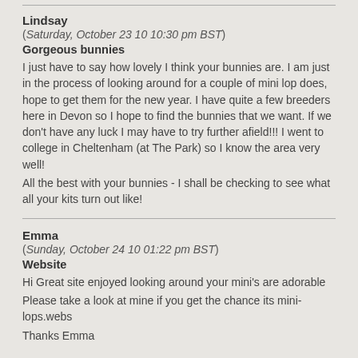Lindsay
(Saturday, October 23 10 10:30 pm BST)
Gorgeous bunnies
I just have to say how lovely I think your bunnies are. I am just in the process of looking around for a couple of mini lop does, hope to get them for the new year. I have quite a few breeders here in Devon so I hope to find the bunnies that we want. If we don't have any luck I may have to try further afield!!! I went to college in Cheltenham (at The Park) so I know the area very well!
All the best with your bunnies - I shall be checking to see what all your kits turn out like!
Emma
(Sunday, October 24 10 01:22 pm BST)
Website
Hi Great site enjoyed looking around your mini's are adorable
Please take a look at mine if you get the chance its mini-lops.webs
Thanks Emma